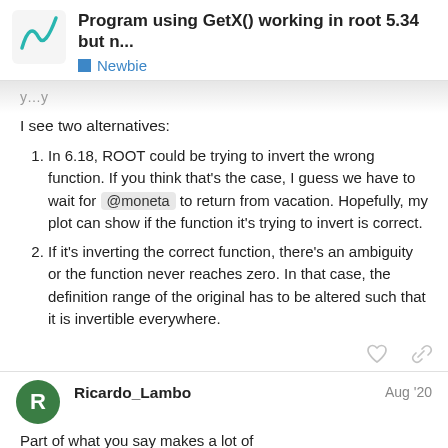Program using GetX() working in root 5.34 but n... | Newbie
I see two alternatives:
In 6.18, ROOT could be trying to invert the wrong function. If you think that's the case, I guess we have to wait for @moneta to return from vacation. Hopefully, my plot can show if the function it's trying to invert is correct.
If it's inverting the correct function, there's an ambiguity or the function never reaches zero. In that case, the definition range of the original has to be altered such that it is invertible everywhere.
Ricardo_Lambo  Aug '20
Part of what you say makes a lot of sense, @StephanH that BrentRootFinder, for whatever reason, doesn't find a clear